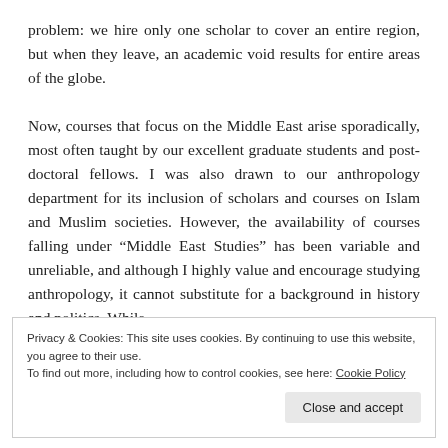problem: we hire only one scholar to cover an entire region, but when they leave, an academic void results for entire areas of the globe.

Now, courses that focus on the Middle East arise sporadically, most often taught by our excellent graduate students and post-doctoral fellows. I was also drawn to our anthropology department for its inclusion of scholars and courses on Islam and Muslim societies. However, the availability of courses falling under “Middle East Studies” has been variable and unreliable, and although I highly value and encourage studying anthropology, it cannot substitute for a background in history and politics. While
Privacy & Cookies: This site uses cookies. By continuing to use this website, you agree to their use.
To find out more, including how to control cookies, see here: Cookie Policy